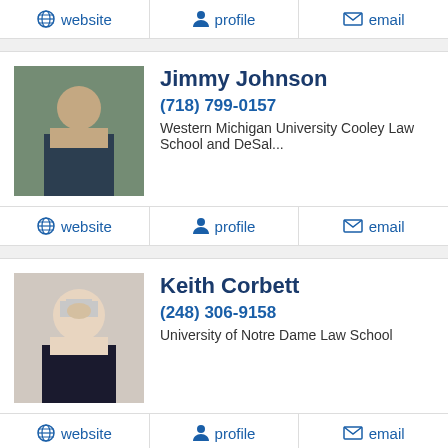website | profile | email
[Figure (photo): Photo of Jimmy Johnson, man in suit standing outdoors]
Jimmy Johnson
(718) 799-0157
Western Michigan University Cooley Law School and DeSal...
website | profile | email
[Figure (photo): Photo of Keith Corbett, older man with white hair in suit]
Keith Corbett
(248) 306-9158
University of Notre Dame Law School
website | profile | email
Nathan G. Frazier